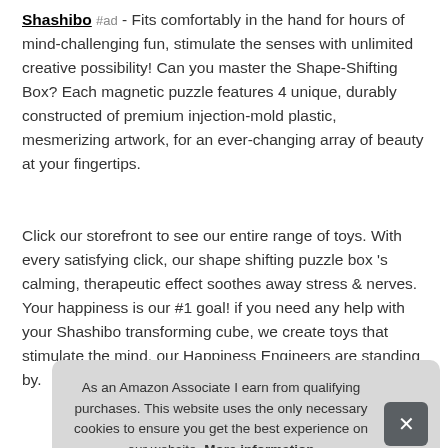Shashibo #ad - Fits comfortably in the hand for hours of mind-challenging fun, stimulate the senses with unlimited creative possibility! Can you master the Shape-Shifting Box? Each magnetic puzzle features 4 unique, durably constructed of premium injection-mold plastic, mesmerizing artwork, for an ever-changing array of beauty at your fingertips.
Click our storefront to see our entire range of toys. With every satisfying click, our shape shifting puzzle box 's calming, therapeutic effect soothes away stress & nerves. Your happiness is our #1 goal! if you need any help with your Shashibo transforming cube, we create toys that stimulate the mind, our Happiness Engineers are standing by.
As an Amazon Associate I earn from qualifying purchases. This website uses the only necessary cookies to ensure you get the best experience on our website. More information
Try ... one ... body & imagination.